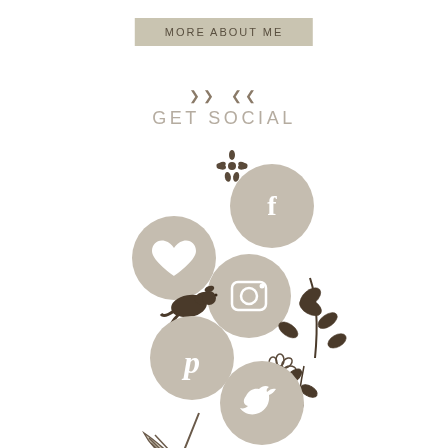MORE ABOUT ME
GET SOCIAL
[Figure (illustration): Social media icons cluster with decorative botanical elements: five tan/beige circles containing white social media icons (heart/Bloglovin, Facebook f, Instagram camera, Pinterest p, Twitter bird), surrounded by hand-drawn botanical decorations including a flower, bird, leaves, and foliage in dark brown.]